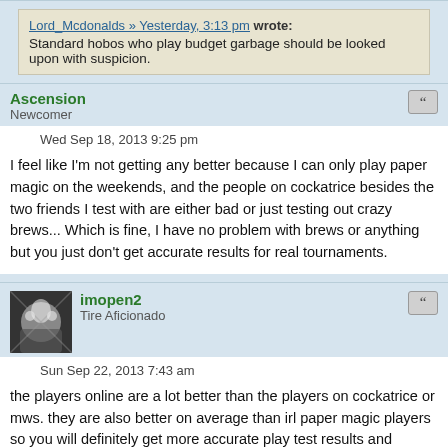Lord_Mcdonalds » Yesterday, 3:13 pm wrote: Standard hobos who play budget garbage should be looked upon with suspicion.
Ascension
Newcomer
Wed Sep 18, 2013 9:25 pm
I feel like I'm not getting any better because I can only play paper magic on the weekends, and the people on cockatrice besides the two friends I test with are either bad or just testing out crazy brews... Which is fine, I have no problem with brews or anything but you just don't get accurate results for real tournaments.
imopen2
Tire Aficionado
Sun Sep 22, 2013 7:43 am
the players online are a lot better than the players on cockatrice or mws. they are also better on average than irl paper magic players so you will definitely get more accurate play test results and improve many of your skills.